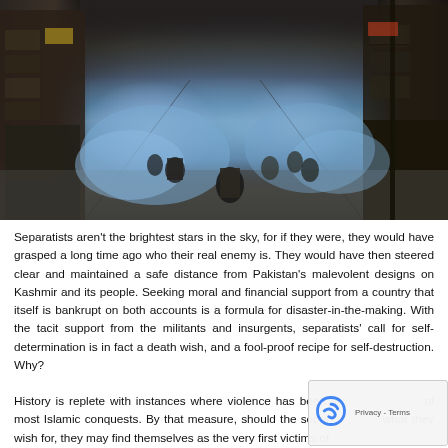[Figure (photo): Street scene showing protesters/people in a narrow alley with blue smoke/tear gas, buildings with shuttered shops on both sides, in what appears to be Kashmir]
Separatists aren't the brightest stars in the sky, for if they were, they would have grasped a long time ago who their real enemy is. They would have then steered clear and maintained a safe distance from Pakistan's malevolent designs on Kashmir and its people. Seeking moral and financial support from a country that itself is bankrupt on both accounts is a formula for disaster-in-the-making. With the tacit support from the militants and insurgents, separatists' call for self-determination is in fact a death wish, and a fool-proof recipe for self-destruction. Why?
History is replete with instances where violence has been at of most Islamic conquests. By that measure, should the separ what they wish for, they may find themselves as the very first victims of